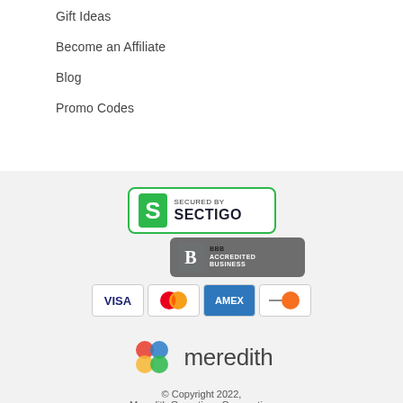Gift Ideas
Become an Affiliate
Blog
Promo Codes
[Figure (logo): Sectigo SSL secured badge with green border, S logo and SECURED BY SECTIGO text]
[Figure (logo): BBB Accredited Business badge in gray]
[Figure (logo): Payment method icons: VISA, Mastercard, AMEX, Discover]
[Figure (logo): Meredith corporation logo with colorful interlocking circles and meredith text]
© Copyright 2022,
Meredith Operations Corporation